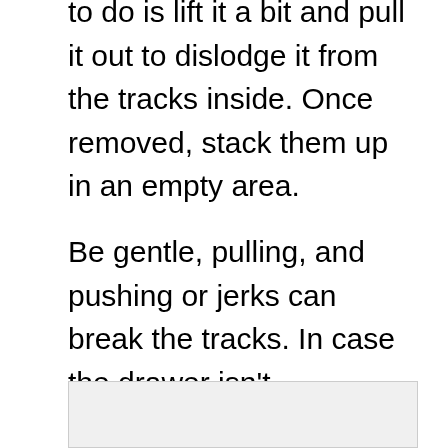to do is lift it a bit and pull it out to dislodge it from the tracks inside. Once removed, stack them up in an empty area.
Be gentle, pulling, and pushing or jerks can break the tracks. In case the drawer isn't removable or won't come I'd suggest you leave it in and paint it all together.
[Figure (other): Partial image or illustration at the bottom of the page, mostly cut off]